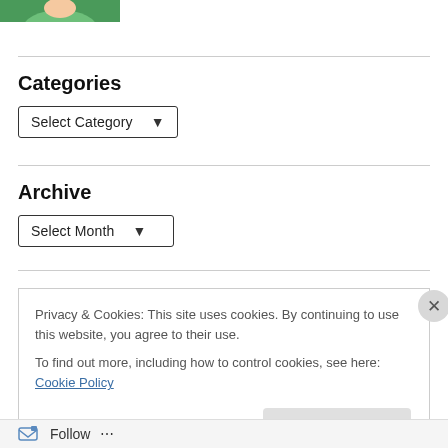[Figure (photo): Partial photo of a person wearing a green top, cropped at top of page]
Categories
[Figure (screenshot): Dropdown select box labeled 'Select Category' with down arrow]
Archive
[Figure (screenshot): Dropdown select box labeled 'Select Month' with down arrow]
Privacy & Cookies: This site uses cookies. By continuing to use this website, you agree to their use.
To find out more, including how to control cookies, see here: Cookie Policy
Close and accept
Follow